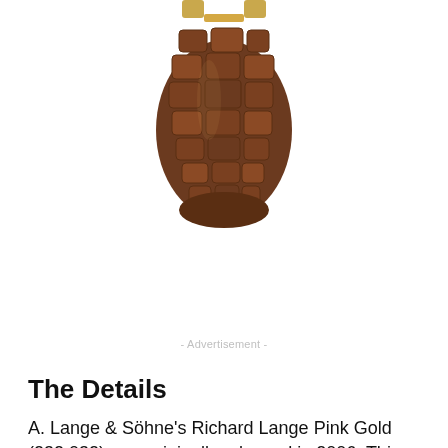[Figure (photo): Close-up photograph of the lower portion of a watch showing a brown crocodile leather strap with gold-colored hardware/lugs at the top]
- Advertisement -
The Details
A. Lange & Söhne's Richard Lange Pink Gold (232.032) was originally released in 2006. This watch